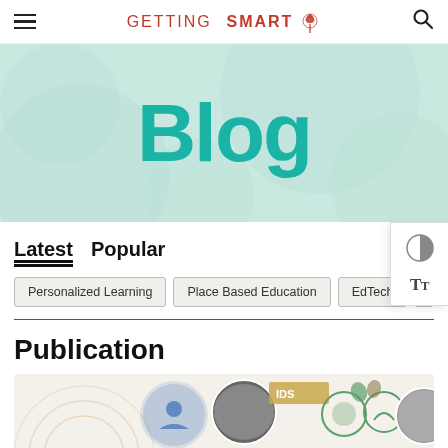Getting Smart — Blog navigation page header with hamburger menu, Getting Smart logo with tree icon, and search icon
[Figure (illustration): Light teal/mint colored hero banner with decorative circles in background and large bold teal 'Blog' text centered]
[Figure (illustration): Accessibility widget panel on right side showing contrast toggle and font size (Tt) controls]
Latest   Popular
Personalized Learning   Place Based Education   EdTech   L…
Publication
[Figure (illustration): Partial view of a publication cover image showing circular icons with images of people and educational graphics on a light background]